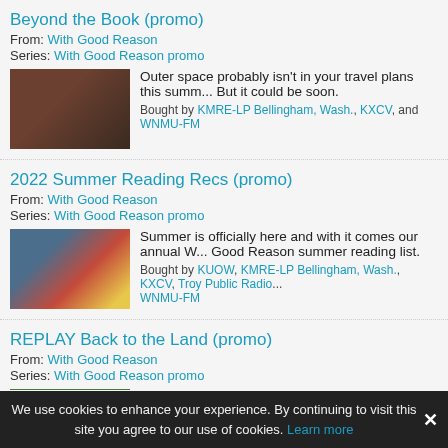Beyond the Book (promo)
From: With Good Reason
Series: With Good Reason promo
[Figure (photo): Person reading a book]
Outer space probably isn't in your travel plans this summ... But it could be soon.
Bought by KMRE-LP Bellingham, Wash., KXCV, and WNMU-FM
2022 Summer Reading Recs (promo)
From: With Good Reason
Series: With Good Reason promo
[Figure (photo): Collage of book covers]
Summer is officially here and with it comes our annual W... Good Reason summer reading list.
Bought by KUOW, KMRE-LP Bellingham, Wash., KXCV, Troy Public Radio... WNMU-FM
REPLAY Back to the Land (promo)
From: With Good Reason
Series: With Good Reason promo
[Figure (photo): Person gardening in a field]
The pandemic gave rise to people from all walks of life t... their hand at gardening for the first time.
We use cookies to enhance your experience. By continuing to visit this site you agree to our use of cookies. Learn more